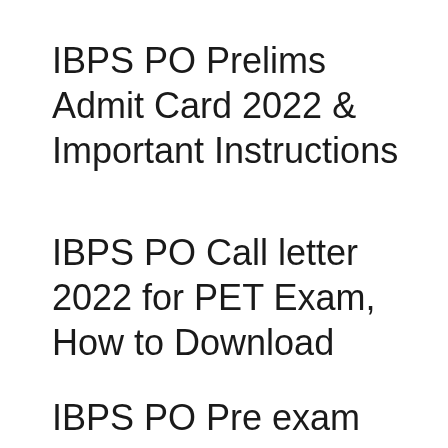IBPS PO Prelims Admit Card 2022 & Important Instructions
IBPS PO Call letter 2022 for PET Exam, How to Download
IBPS PO Pre exam